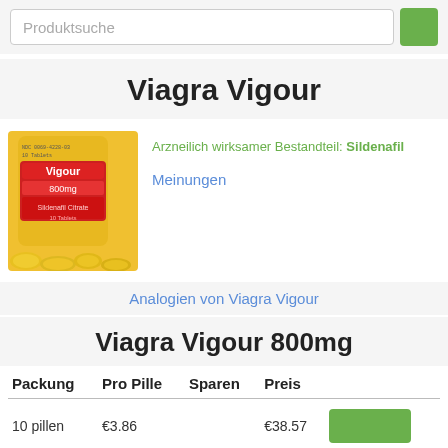Produktsuche
Viagra Vigour
[Figure (photo): Photo of Viagra Vigour 800mg pill bottle with yellow tablets, labeled Vigour 800mg]
Arzneilich wirksamer Bestandteil: Sildenafil
Meinungen
Analogien von Viagra Vigour
Viagra Vigour 800mg
| Packung | Pro Pille | Sparen | Preis |  |
| --- | --- | --- | --- | --- |
| 10 pillen | €3.86 |  | €38.57 |  |
| 20 pillen | €2.88 | €19.6 | €57.53 |  |